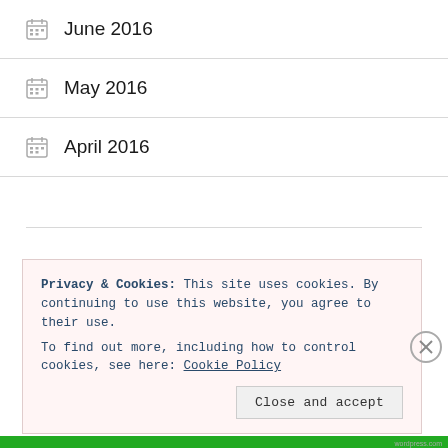June 2016
May 2016
April 2016
CATEGORIES
Privacy & Cookies: This site uses cookies. By continuing to use this website, you agree to their use.
To find out more, including how to control cookies, see here: Cookie Policy
Close and accept